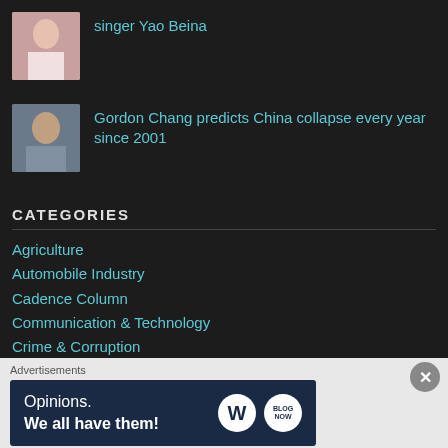[Figure (photo): Small thumbnail photo of a woman (singer Yao Beina)]
singer Yao Beina
[Figure (photo): Small thumbnail photo of a man (Gordon Chang)]
Gordon Chang predicts China collapse every year since 2001
CATEGORIES
Agriculture
Automobile Industry
Cadence Column
Communication & Technology
Crime & Corruption
Defence & Aerospace
Education & Employment
Finance & Economy
Advertisements
[Figure (other): WordPress advertisement banner: 'Opinions. We all have them!' with WordPress and Blog Now logos]